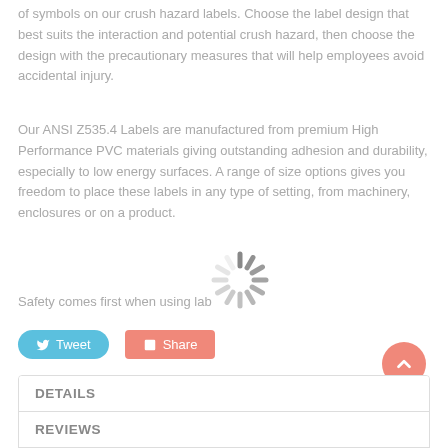of symbols on our crush hazard labels. Choose the label design that best suits the interaction and potential crush hazard, then choose the design with the precautionary measures that will help employees avoid accidental injury.
Our ANSI Z535.4 Labels are manufactured from premium High Performance PVC materials giving outstanding adhesion and durability, especially to low energy surfaces. A range of size options gives you freedom to place these labels in any type of setting, from machinery, enclosures or on a product.
Safety comes first when using lab...
[Figure (other): Loading spinner / radial loading indicator in gray]
Tweet button and Share button (social media buttons)
DETAILS
REVIEWS
CUSTOM TAB